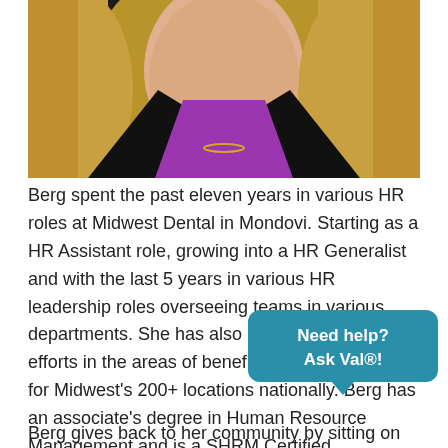[Figure (photo): Professional headshot of a woman with long blonde hair, wearing a black blazer over a purple/magenta top, against a dark background.]
Berg spent the past eleven years in various HR roles at Midwest Dental in Mondovi. Starting as a HR Assistant role, growing into a HR Generalist and with the last 5 years in various HR leadership roles overseeing teams in various departments. She has also led HR Support efforts in the areas of benefits, payroll and HRIS for Midwest's 200+ locations nationally. Berg has an associate's degree in Human Resource Management and is a SHRM Certified Professional.
Berg gives back to her community by sitting on the